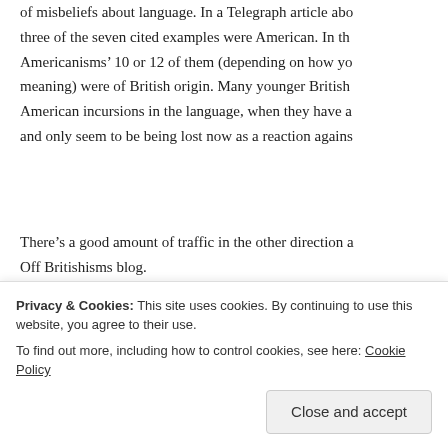of misbeliefs about language. In a Telegraph article abo... three of the seven cited examples were American. In th... Americanisms' 10 or 12 of them (depending on how yo... meaning) were of British origin. Many younger British... American incursions in the language, when they have a... and only seem to be being lost now as a reaction agains...
There's a good amount of traffic in the other direction a... Off Britishisms blog.
Reply
Chris says:
Privacy & Cookies: This site uses cookies. By continuing to use this website, you agree to their use.
To find out more, including how to control cookies, see here: Cookie Policy
Close and accept